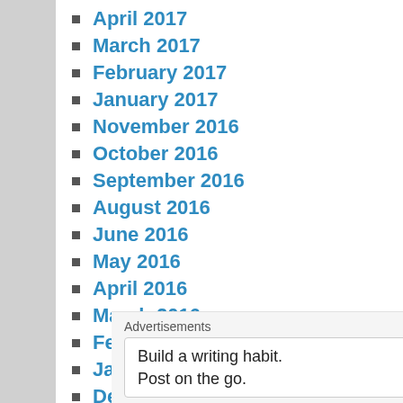April 2017
March 2017
February 2017
January 2017
November 2016
October 2016
September 2016
August 2016
June 2016
May 2016
April 2016
March 2016
February 2016
January 2016
December 2015
November 2015
October 2015
Advertisements
Build a writing habit. Post on the go. GET THE APP